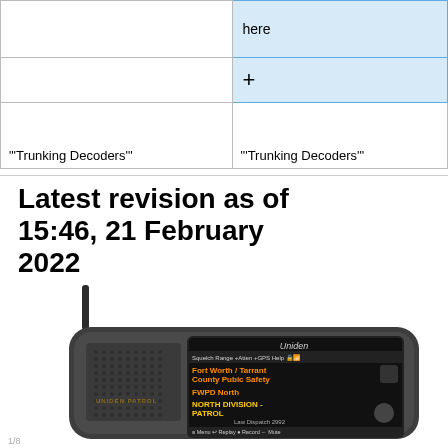|  | here |
|  | + |
| "'Trunking Decoders'" | "'Trunking Decoders'" |
Latest revision as of 15:46, 21 February 2022
[Figure (photo): Photo of a Uniden handheld police scanner radio with a display showing Fort Worth / Tarrant County Public Safety, FWPD North, NORTH DIVISION - PATROL, Law Dispatch 2992]
1/8